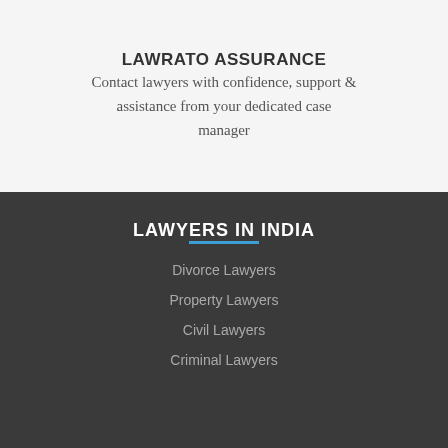LAWRATO ASSURANCE
Contact lawyers with confidence, support & assistance from your dedicated case manager
LAWYERS IN INDIA
Divorce Lawyers
Property Lawyers
Civil Lawyers
Criminal Lawyers